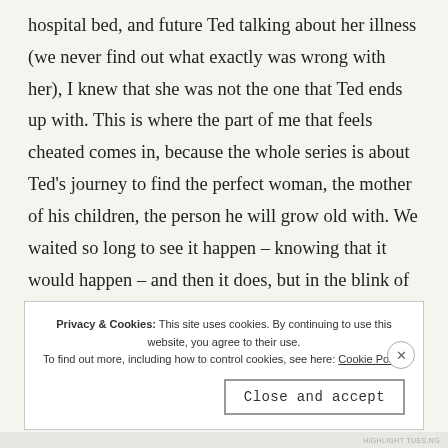hospital bed, and future Ted talking about her illness (we never find out what exactly was wrong with her), I knew that she was not the one that Ted ends up with. This is where the part of me that feels cheated comes in, because the whole series is about Ted's journey to find the perfect woman, the mother of his children, the person he will grow old with. We waited so long to see it happen – knowing that it would happen – and then it does, but in the blink of an eye it's gone, and that kinda broke my heart a little bit.
Privacy & Cookies: This site uses cookies. By continuing to use this website, you agree to their use. To find out more, including how to control cookies, see here: Cookie Policy
Close and accept
HIGHLIGHT TUES.NG